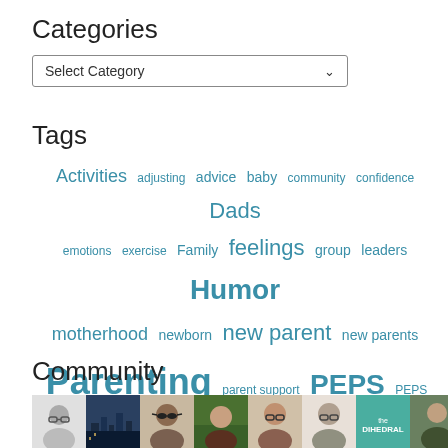Categories
Select Category
Tags
Activities adjusting advice baby community confidence Dads emotions exercise Family feelings group leaders Humor motherhood newborn new parent new parents Parenting parent support PEPS PEPS Network play relationships sad second baby Second Time Mom Self-Care summer support volunteering
Community